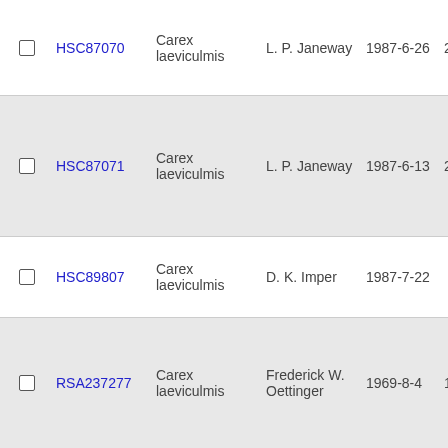|  | ID | Species | Collector | Date | Number |
| --- | --- | --- | --- | --- | --- |
| ☐ | HSC87070 | Carex laeviculmis | L. P. Janeway | 1987-6-26 | 2305 |
| ☐ | HSC87071 | Carex laeviculmis | L. P. Janeway | 1987-6-13 | 2203 |
| ☐ | HSC89807 | Carex laeviculmis | D. K. Imper | 1987-7-22 |  |
| ☐ | RSA237277 | Carex laeviculmis | Frederick W. Oettinger | 1969-8-4 | 1179 |